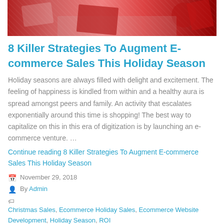[Figure (photo): Holiday shopping photo showing hands, gift boxes, credit card, and laptop on a wooden desk with red/festive decorations]
8 Killer Strategies To Augment E-commerce Sales This Holiday Season
Holiday seasons are always filled with delight and excitement. The feeling of happiness is kindled from within and a healthy aura is spread amongst peers and family. An activity that escalates exponentially around this time is shopping! The best way to capitalize on this in this era of digitization is by launching an e-commerce venture. …
Continue reading 8 Killer Strategies To Augment E-commerce Sales This Holiday Season
November 29, 2018
By Admin
Christmas Sales, Ecommerce Holiday Sales, Ecommerce Website Development, Holiday Season, ROI
No comments yet